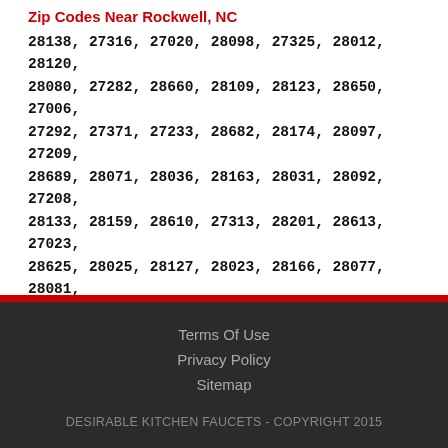Zip Codes Near Rockwell, NC
28138, 27316, 27020, 28098, 27325, 28012, 28120, 28080, 27282, 28660, 28109, 28123, 28650, 27006, 27292, 27371, 27233, 28682, 28174, 28097, 27209, 28689, 28071, 28036, 28163, 28031, 28092, 27208, 28133, 28159, 28610, 27313, 28201, 28613, 27023, 28625, 28025, 28127, 28023, 28166, 28077, 28081, 28609, 27203, 28367, 28115, 27351, 27230, 28634, 27350, 27010, 28007, 27260, 28170, 28138, 28636, 28688, 28072, 28173, 28091, 27248
Terms Of Use
Privacy Policy
Sitemap
DESIRABLE KITCHEN FAUCETS - COPYRIGHT 2015